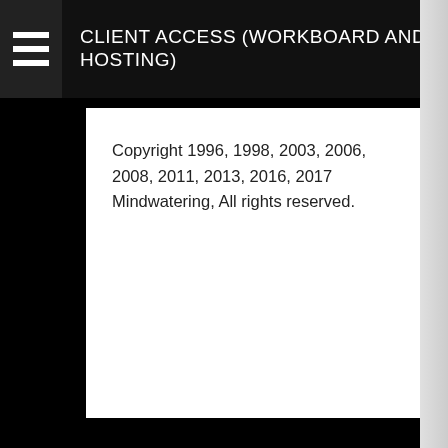CLIENT ACCESS (WORKBOARD AND HOSTING)
Copyright 1996, 1998, 2003, 2006, 2008, 2011, 2013, 2016, 2017 Mindwatering, All rights reserved.